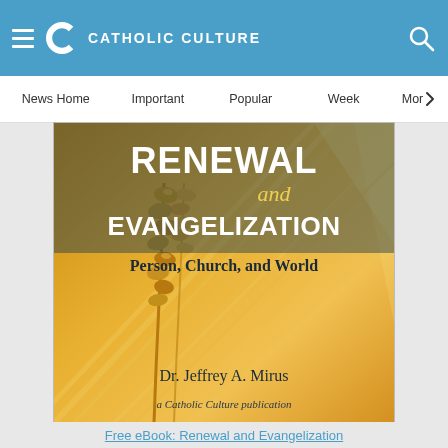CATHOLIC CULTURE
News Home | Important | Popular | Week | More
[Figure (photo): Book cover for 'Renewal and Evangelization: Person, Church, and World' by Dr. Jeffrey A. Mirus, a Catholic Culture publication. Background shows golden wheat stalks up close. Title text in large bold white letters, subtitle below, author name at bottom.]
Free eBook: Renewal and Evangelization